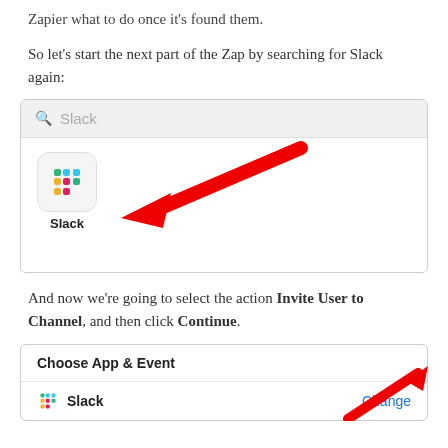Zapier what to do once it’s found them.
So let’s start the next part of the Zap by searching for Slack again:
[Figure (screenshot): A search interface box showing a search field with the text 'Slack' and a gray magnifying glass icon. Below is a white results area showing the Slack logo icon (colorful hashtag-like symbol) in a rounded square, labeled 'Slack' underneath. A large red arrow annotation points to the Slack icon from the upper right.]
And now we’re going to select the action Invite User to Channel, and then click Continue.
[Figure (screenshot): A 'Choose App & Event' panel showing the Slack logo icon on the left with the text 'Slack' and a blue 'Change' link on the right. A red diagonal arrow annotation points toward the Change button from the lower left.]